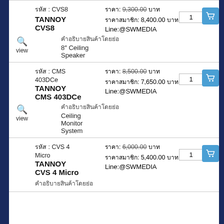รหัส : CVS8 | ราคา: 9,300.00 บาท | ราคาสมาชิก: 8,400.00 บาท | Line:@SWMEDIA | TANNOY CVS8 | view | คำอธิบาย | 8" Ceiling Speaker | qty: 1
รหัส : CMS 403DCe | ราคา: 8,500.00 บาท | ราคาสมาชิก: 7,650.00 บาท | Line:@SWMEDIA | TANNOY CMS 403DCe | view | คำอธิบาย | Ceiling Monitor System | qty: 1
รหัส : CVS 4 Micro | ราคา: 6,000.00 บาท | ราคาสมาชิก: 5,400.00 บาท | Line:@SWMEDIA | TANNOY CVS 4 Micro | คำอธิบาย | qty: 1